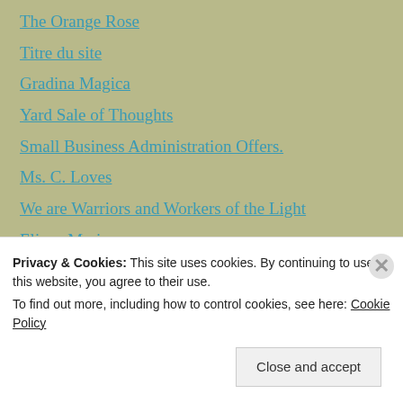The Orange Rose
Titre du site
Gradina Magica
Yard Sale of Thoughts
Small Business Administration Offers.
Ms. C. Loves
We are Warriors and Workers of the Light
Eliane Mariz
Riverside Peace
Privacy & Cookies: This site uses cookies. By continuing to use this website, you agree to their use.
To find out more, including how to control cookies, see here: Cookie Policy
Close and accept